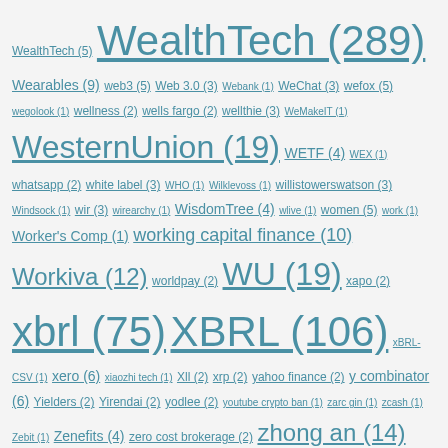WealthTech (5) WealthTech (289) Wearables (9) web3 (5) Web 3.0 (3) Webank (1) WeChat (3) wefox (5) wegolook (1) wellness (2) wells fargo (2) wellthie (3) WeMakeIT (1) WesternUnion (19) WETF (4) WEX (1) whatsapp (2) white label (3) WHO (1) Wilklevoss (1) willistowerswatson (3) Windsock (1) wir (3) wirearchy (1) WisdomTree (4) wlive (1) women (5) work (1) Worker's Comp (1) working capital finance (10) Workiva (12) worldpay (2) WU (19) xapo (2) xbrl (75) XBRL (106) xBRL-CSV (1) xero (6) xiaozhi tech (1) Xll (2) xrp (2) yahoo finance (2) y combinator (6) Yielders (2) Yirendai (2) yodlee (2) youtube crypto ban (1) zarc gin (1) zcash (1) Zebit (1) Zenefits (4) zero cost brokerage (2) zhong an (14) zhongan (2) zidisha (2) Ziero (1) zipMoney (3) zombie companies (2) zopa (2) zuckerberg (3) zug (1) Zuper (2) zurich (4)